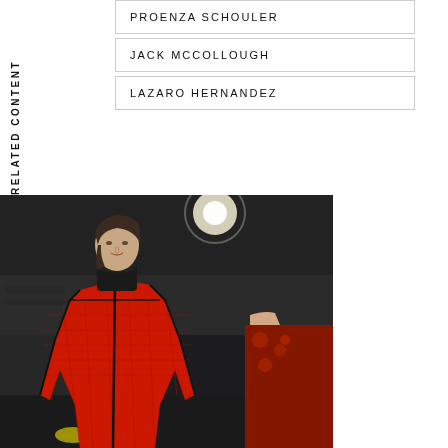RELATED CONTENT
PROENZA SCHOULER
JACK MCCOLLOUGH
LAZARO HERNANDEZ
[Figure (photo): Fashion runway photo of a model wearing a bold red crocodile-textured cape/coat with black trim and black turtleneck, walking on a dark industrial runway. Another model partially visible on the right in a patterned dress.]